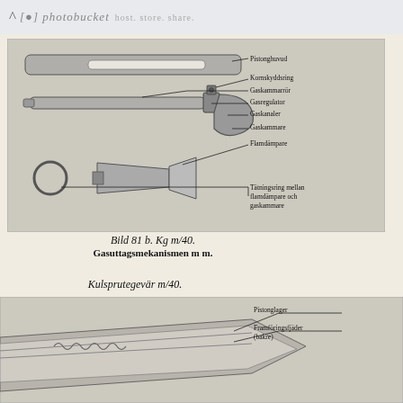photobucket host. store. share.
[Figure (engineering-diagram): Exploded/disassembled view of Kg m/40 gas extraction mechanism (Gasuttagsmekanismen). Components labeled: Pistonghuvud (piston head), Kornskyddsring (bead guard ring), Gaskammarrör (gas chamber tube), Gasregulator (gas regulator), Gaskanaler (gas channels), Gaskammare (gas chamber), Flamdämpare (flash hider), Tätningsring mellan flamdämpare och gaskammare (sealing ring between flash hider and gas chamber).]
Bild 81 b. Kg m/40.
Gasuttagsmekanismen m m.
Kulsprutegevär m/40.
[Figure (engineering-diagram): Cross-section/cutaway diagram of Kulsprutegevär m/40. Components partially labeled: Pistonglager (piston bearing), Framföringsfjäder (bakre) (feed spring, rear).]